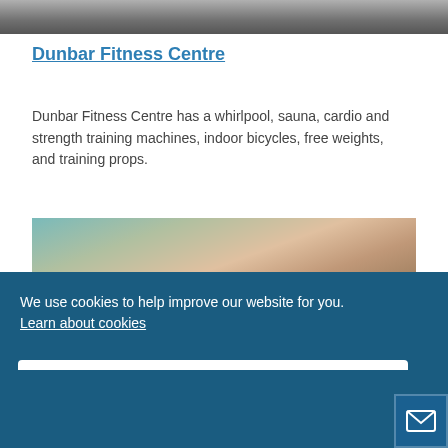[Figure (photo): Partial top strip of a gym/fitness centre photo]
Dunbar Fitness Centre
Dunbar Fitness Centre has a whirlpool, sauna, cardio and strength training machines, indoor bicycles, free weights, and training props.
[Figure (photo): Photo of people (students/participants) bending over a table in what appears to be a fitness or classroom setting]
We use cookies to help improve our website for you.
Learn about cookies
Close